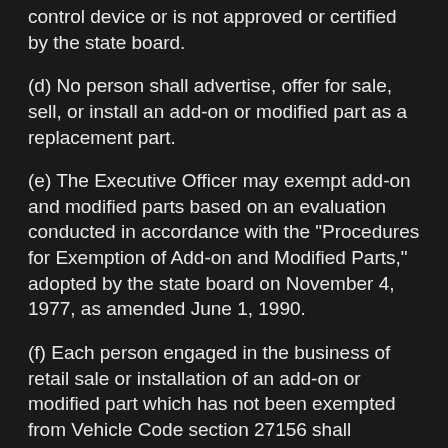control device or is not approved or certified by the state board.
(d) No person shall advertise, offer for sale, sell, or install an add-on or modified part as a replacement part.
(e) The Executive Officer may exempt add-on and modified parts based on an evaluation conducted in accordance with the "Procedures for Exemption of Add-on and Modified Parts," adopted by the state board on November 4, 1977, as amended June 1, 1990.
(f) Each person engaged in the business of retail sale or installation of an add-on or modified part which has not been exempted from Vehicle Code section 27156 shall maintain records of such